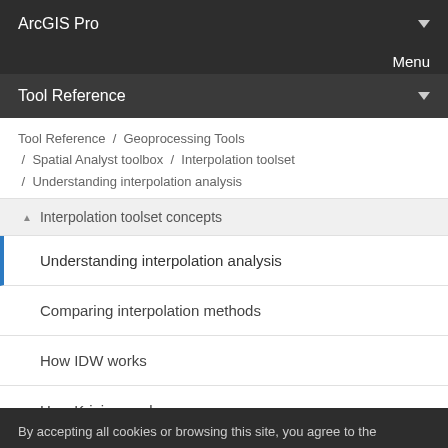ArcGIS Pro
Menu
Tool Reference
Tool Reference / Geoprocessing Tools / Spatial Analyst toolbox / Interpolation toolset / Understanding interpolation analysis
Interpolation toolset concepts
Understanding interpolation analysis
Comparing interpolation methods
How IDW works
How Kriging works
By accepting all cookies or browsing this site, you agree to the